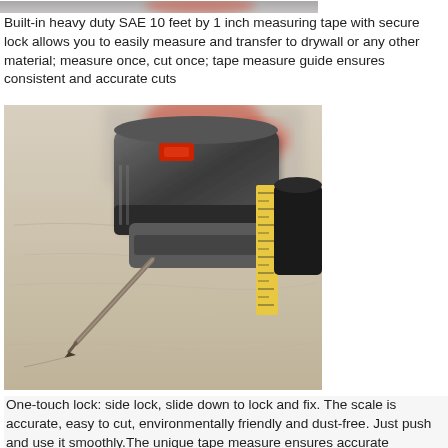[Figure (photo): Partial view of a tool (drywall scoring or cutting tool) being used on a surface, with a pencil or stylus tip touching a light-colored material. A yellow measuring tape is visible in the background. The image is partially blurred at the top.]
Built-in heavy duty SAE 10 feet by 1 inch measuring tape with secure lock allows you to easily measure and transfer to drywall or any other material; measure once, cut once; tape measure guide ensures consistent and accurate cuts
[Figure (photo): Close-up photo of a drywall scoring/cutting tool with a pencil tip marking a beige drywall surface. The tool body is grey and black with red accents. A yellow measuring tape ruler is visible along the right side.]
One-touch lock: side lock, slide down to lock and fix. The scale is accurate, easy to cut, environmentally friendly and dust-free. Just push and use it smoothly.The unique tape measure ensures accurate dimensions. Dust-free cutting, environmentally friendly and healthy, will not touch the blade or hurt your hands.